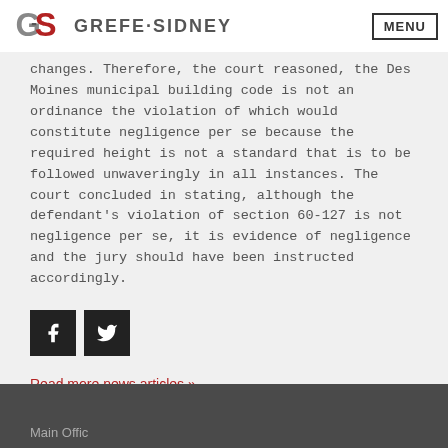GREFE·SIDNEY | MENU
changes. Therefore, the court reasoned, the Des Moines municipal building code is not an ordinance the violation of which would constitute negligence per se because the required height is not a standard that is to be followed unwaveringly in all instances. The court concluded in stating, although the defendant's violation of section 60-127 is not negligence per se, it is evidence of negligence and the jury should have been instructed accordingly.
[Figure (other): Facebook and Twitter social share icon buttons]
Read more news articles »
Main Office